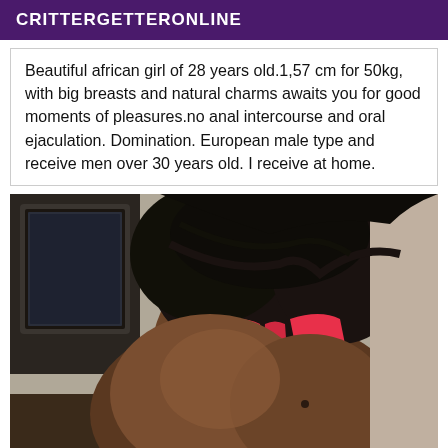CRITTERGETTERONLINE
Beautiful african girl of 28 years old.1,57 cm for 50kg, with big breasts and natural charms awaits you for good moments of pleasures.no anal intercourse and oral ejaculation. Domination. European male type and receive men over 30 years old. I receive at home.
[Figure (photo): Photograph of a young woman with dark hair wearing a red/pink top, viewed from behind, with a computer monitor visible in the background.]